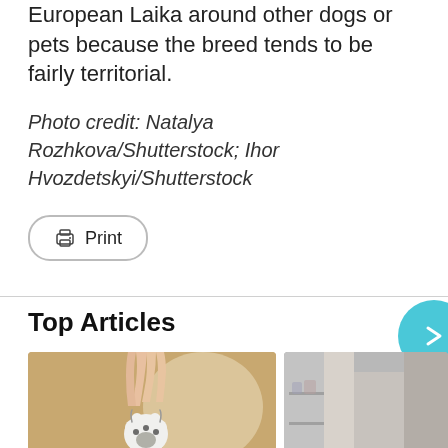European Laika around other dogs or pets because the breed tends to be fairly territorial.
Photo credit: Natalya Rozhkova/Shutterstock; Ihor Hvozdetskyi/Shutterstock
Print
Top Articles
[Figure (photo): A cat raising its paw toward a human hand, against a warm tan background]
[Figure (photo): Blurred indoor scene, possibly a pet or store interior]
[Figure (screenshot): A map/navigation overlay at the bottom showing address 43575 Dulles Eastern Plaza, Suite 171, D and In-store shopping text with navigation icons]